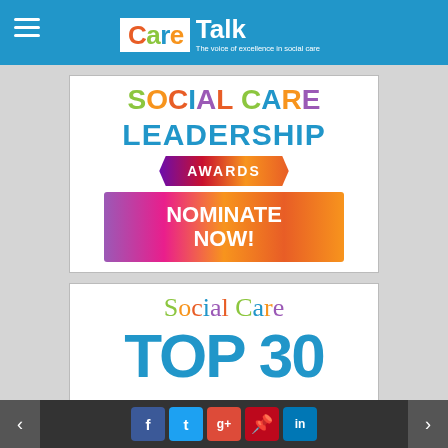CareTalk - The voice of excellence in social care
[Figure (illustration): Social Care Leadership Awards banner with colorful text and a nominate now button]
[Figure (illustration): Social Care Top 30 promotional banner with colorful serif and bold text]
Navigation arrows and social media share buttons: Facebook, Twitter, Google+, Pinterest, LinkedIn